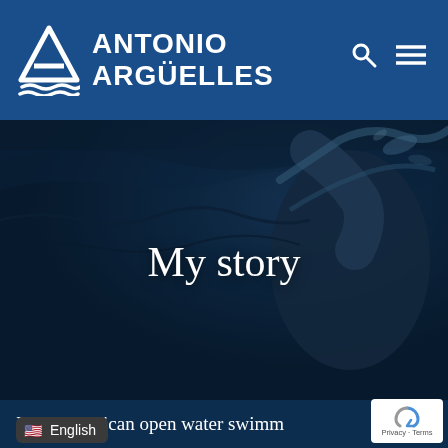ANTONIO ARGÜELLES
[Figure (photo): A swimmer (Antonio Argüelles) performing open water swimming, emerging from dark ocean waves with arm raised and water splashing around them. The image has a dark blue color tone overlay.]
My story
I am a Mexican open water swimm...
English